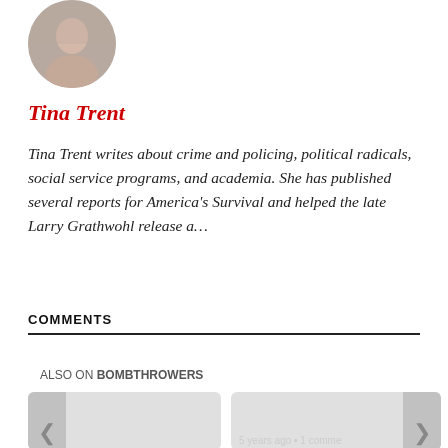[Figure (photo): Circular avatar photo of Tina Trent showing a woman's face from the nose up]
Tina Trent
Tina Trent writes about crime and policing, political radicals, social service programs, and academia. She has published several reports for America's Survival and helped the late Larry Grathwohl release a…
COMMENTS
ALSO ON BOMBTHROWERS
[Figure (screenshot): Two article preview cards side by side with left chevron on the left card and right chevron on the right card. Right card shows '5 years ago • 1 comme' and partial text below.]